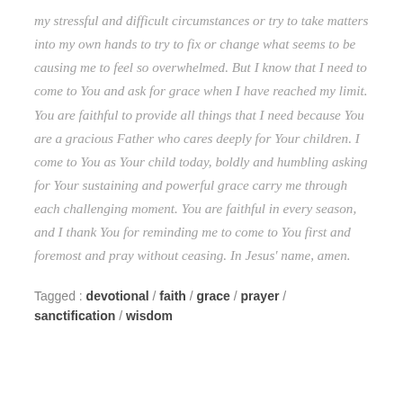my stressful and difficult circumstances or try to take matters into my own hands to try to fix or change what seems to be causing me to feel so overwhelmed. But I know that I need to come to You and ask for grace when I have reached my limit. You are faithful to provide all things that I need because You are a gracious Father who cares deeply for Your children. I come to You as Your child today, boldly and humbling asking for Your sustaining and powerful grace carry me through each challenging moment. You are faithful in every season, and I thank You for reminding me to come to You first and foremost and pray without ceasing. In Jesus' name, amen.
Tagged : devotional / faith / grace / prayer / sanctification / wisdom